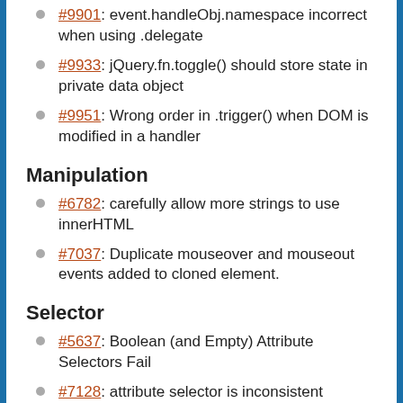#9901: event.handleObj.namespace incorrect when using .delegate
#9933: jQuery.fn.toggle() should store state in private data object
#9951: Wrong order in .trigger() when DOM is modified in a handler
Manipulation
#6782: carefully allow more strings to use innerHTML
#7037: Duplicate mouseover and mouseout events added to cloned element.
Selector
#5637: Boolean (and Empty) Attribute Selectors Fail
#7128: attribute selector is inconsistent between qSA and Sizzle due to use of DOM properties